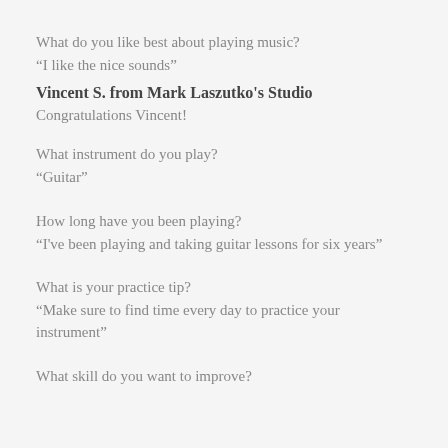What do you like best about playing music?
“I like the nice sounds”
Vincent S. from Mark Laszutko's Studio
Congratulations Vincent!
What instrument do you play?
“Guitar”
How long have you been playing?
“I've been playing and taking guitar lessons for six years”
What is your practice tip?
“Make sure to find time every day to practice your instrument”
What skill do you want to improve?